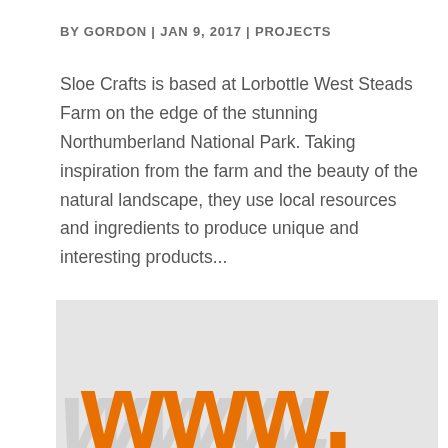BY GORDON | JAN 9, 2017 | PROJECTS
Sloe Crafts is based at Lorbottle West Steads Farm on the edge of the stunning Northumberland National Park. Taking inspiration from the farm and the beauty of the natural landscape, they use local resources and ingredients to produce unique and interesting products...
[Figure (illustration): Light grey background with large bold orange 'www.' text partially visible, representing a website URL display graphic.]